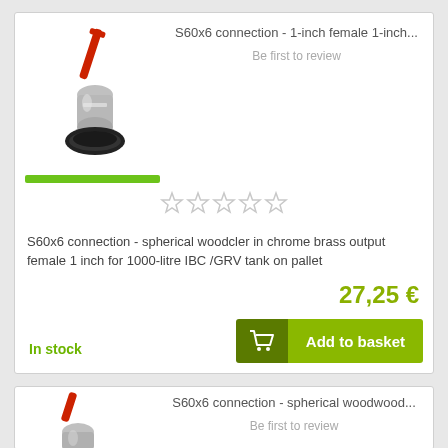S60x6 connection - 1-inch female 1-inch...
Be first to review
[Figure (photo): Ball valve connector with red lever handle, chrome brass fitting, and black S60x6 base adapter]
S60x6 connection - spherical woodcler in chrome brass output female 1 inch for 1000-litre IBC /GRV tank on pallet
27,25 €
In stock
Add to basket
S60x6 connection - spherical woodwood...
Be first to review
[Figure (photo): Ball valve connector with red lever handle and chrome fitting, partial view]